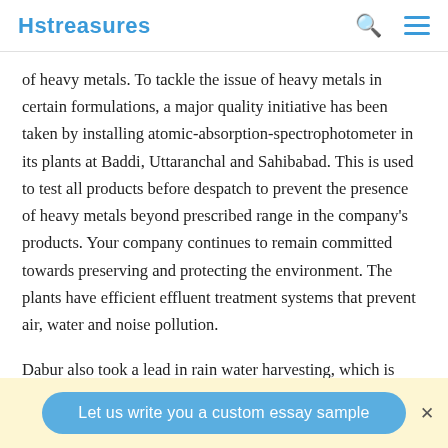Hstreasures
of heavy metals. To tackle the issue of heavy metals in certain formulations, a major quality initiative has been taken by installing atomic-absorption-spectrophotometer in its plants at Baddi, Uttaranchal and Sahibabad. This is used to test all products before despatch to prevent the presence of heavy metals beyond prescribed range in the company's products. Your company continues to remain committed towards preserving and protecting the environment. The plants have efficient effluent treatment systems that prevent air, water and noise pollution.
Dabur also took a lead in rain water harvesting, which is being implemented in three units, in addition to preserving
Let us write you a custom essay sample